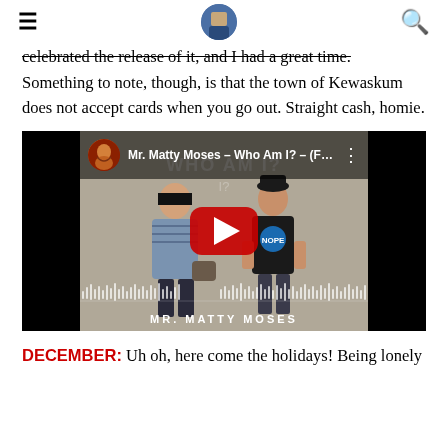≡ [avatar image] 🔍
celebrated the release of it, and I had a great time. Something to note, though, is that the town of Kewaskum does not accept cards when you go out. Straight cash, homie.
[Figure (screenshot): YouTube video embed titled 'Mr. Matty Moses - Who Am I? - (F...' showing two people standing, with YouTube play button overlay and channel avatar.]
DECEMBER: Uh oh, here come the holidays! Being lonely